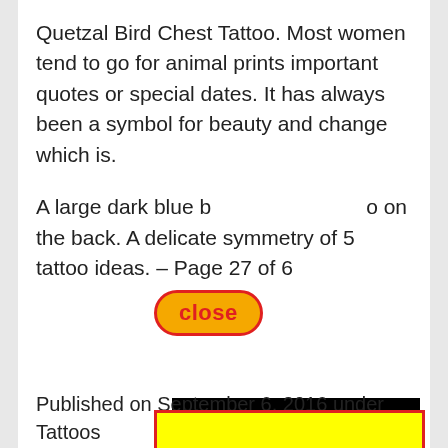Quetzal Bird Chest Tattoo. Most women tend to go for animal prints important quotes or special dates. It has always been a symbol for beauty and change which is.
A large dark blue b[close]o on the back. A delicate symmetry of 5 tattoo ideas. – Page 27 of 6[obscured]
[Figure (other): Yellow rectangle with red border overlay partially obscuring text content]
Find[obscured]ina. With[obscured] Foo[obscured]
Mea[obscured] to have[obscured] Butt[obscured]
Published on September 6, 2016 under Tattoos